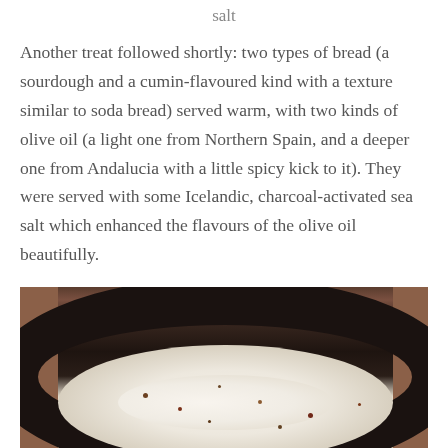salt
Another treat followed shortly: two types of bread (a sourdough and a cumin-flavoured kind with a texture similar to soda bread) served warm, with two kinds of olive oil (a light one from Northern Spain, and a deeper one from Andalucia with a little spicy kick to it). They were served with some Icelandic, charcoal-activated sea salt which enhanced the flavours of the olive oil beautifully.
[Figure (photo): A dark ceramic bowl containing a creamy white soup with spice speckling, viewed from above, resting on a wooden surface]